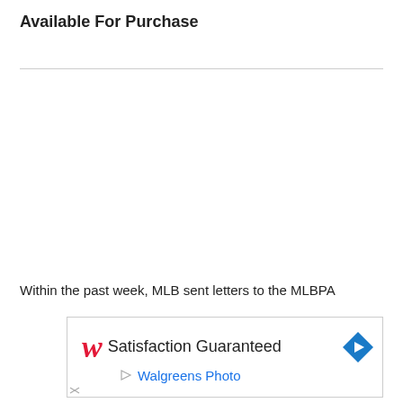Available For Purchase
Within the past week, MLB sent letters to the MLBPA
[Figure (other): Walgreens Photo advertisement banner showing 'Satisfaction Guaranteed' text with Walgreens cursive W logo and blue diamond arrow icon]